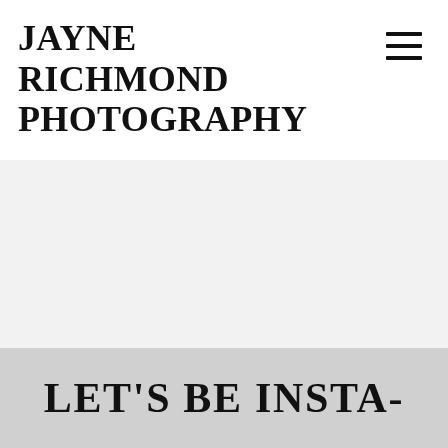JAYNE RICHMOND PHOTOGRAPHY
[Figure (other): Hamburger menu icon (three horizontal lines)]
[Figure (other): Light gray empty content area]
LET'S BE INSTA-